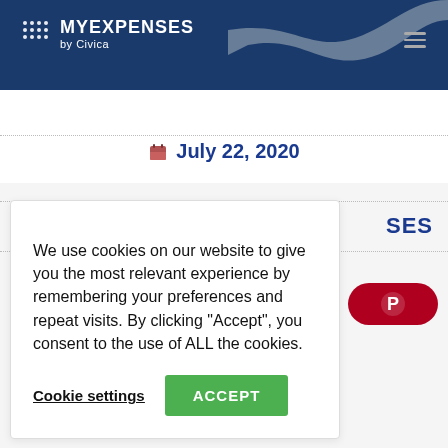MYEXSPENSES by Civica
July 22, 2020
SES
We use cookies on our website to give you the most relevant experience by remembering your preferences and repeat visits. By clicking “Accept”, you consent to the use of ALL the cookies.
Cookie settings   ACCEPT